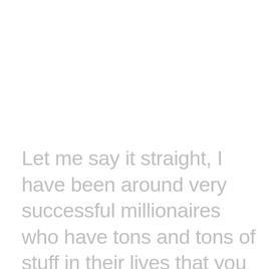Let me say it straight, I have been around very successful millionaires who have tons and tons of stuff in their lives that you would think would make them happy people. But that is just not the case. Mostly, they are no more free than you are!